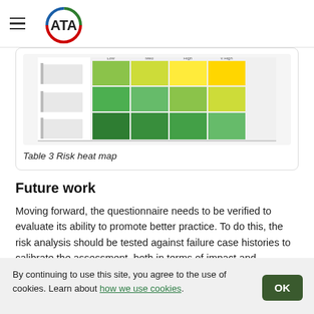ATA
[Figure (other): Risk heat map image showing a matrix with colored zones (green to yellow-green gradient) representing risk levels. Small illegible text labels appear on the left side of the matrix.]
Table 3 Risk heat map
Future work
Moving forward, the questionnaire needs to be verified to evaluate its ability to promote better practice. To do this, the risk analysis should be tested against failure case histories to calibrate the assessment, both in terms of impact and likelihood of failure for the five primary causes of wall failure. In addition, logic statements (not included in this article) for the answers to the questions can be
By continuing to use this site, you agree to the use of cookies. Learn about how we use cookies.